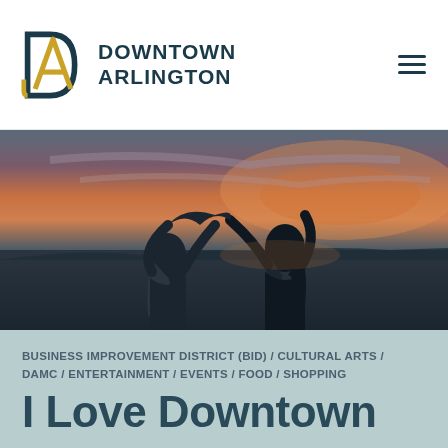DOWNTOWN ARLINGTON
[Figure (photo): Two silhouetted people viewed from behind making a heart shape with their hands raised against a dramatic sunset sky over a cityscape landscape.]
BUSINESS IMPROVEMENT DISTRICT (BID) / CULTURAL ARTS / DAMC / ENTERTAINMENT / EVENTS / FOOD / SHOPPING
Feb 11, 2021
I Love Downtown